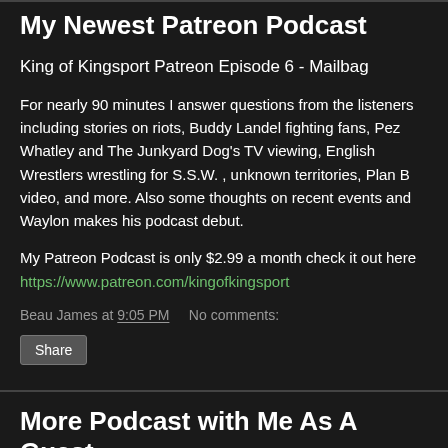My Newest Patreon Podcast
King of Kingsport Patreon Episode 6 - Mailbag
For nearly 90 minutes I answer questions from the listeners including stories on riots, Buddy Landel fighting fans, Pez Whatley and The Junkyard Dog's TV viewing, English Wrestlers wrestling for S.S.W. , unknown territories, Plan B video, and more. Also some thoughts on recent events and Waylon makes his podcast debut.
My Patreon Podcast is only $2.99 a month check it out here https://www.patreon.com/kingofkingsport
Beau James at 9:05 PM    No comments:
Share
More Podcast with Me As A Guest